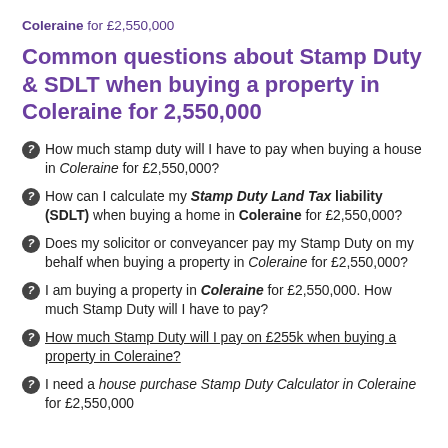Coleraine for £2,550,000
Common questions about Stamp Duty & SDLT when buying a property in Coleraine for 2,550,000
How much stamp duty will I have to pay when buying a house in Coleraine for £2,550,000?
How can I calculate my Stamp Duty Land Tax liability (SDLT) when buying a home in Coleraine for £2,550,000?
Does my solicitor or conveyancer pay my Stamp Duty on my behalf when buying a property in Coleraine for £2,550,000?
I am buying a property in Coleraine for £2,550,000. How much Stamp Duty will I have to pay?
How much Stamp Duty will I pay on £255k when buying a property in Coleraine?
I need a house purchase Stamp Duty Calculator in Coleraine for £2,550,000